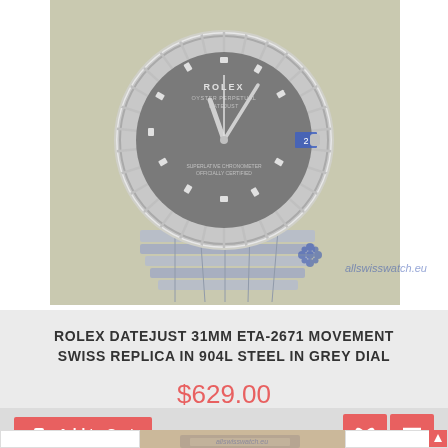[Figure (photo): A Rolex Datejust 31mm watch with grey dial, diamond hour markers, fluted bezel, and jubilee bracelet on a beige background. Watermark reads 'allswisswatch.eu' with a blue flower logo.]
ROLEX DATEJUST 31MM ETA-2671 MOVEMENT SWISS REPLICA IN 904L STEEL IN GREY DIAL
$629.00
Add to Cart
[Figure (photo): Partial view of another watch with rose gold and silver jubilee bracelet, with allswisswatch.eu watermark visible.]